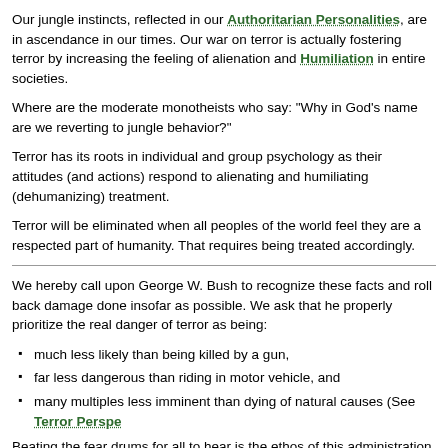Our jungle instincts, reflected in our Authoritarian Personalities, are in ascendance in our times. Our war on terror is actually fostering terror by increasing the feeling of alienation and Humiliation in entire societies.
Where are the moderate monotheists who say: "Why in God's name are we reverting to jungle behavior?"
Terror has its roots in individual and group psychology as their attitudes (and actions) respond to alienating and humiliating (dehumanizing) treatment.
Terror will be eliminated when all peoples of the world feel they are a respected part of humanity. That requires being treated accordingly.
We hereby call upon George W. Bush to recognize these facts and roll back damage done insofar as possible. We ask that he properly prioritize the real danger of terror as being:
much less likely than being killed by a gun,
far less dangerous than riding in motor vehicle, and
many multiples less imminent than dying of natural causes (See Terror Perspe...
Beating the fear drums for all to hear is the ethos of this administration. To give us internal peace of mind, could we not then alternatively ask Mr. Bush, and any future president, to try: